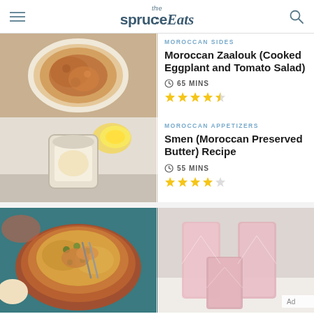the spruceEats
[Figure (photo): Moroccan Zaalouk dish in a bowl, top-down view]
MOROCCAN SIDES
Moroccan Zaalouk (Cooked Eggplant and Tomato Salad)
65 MINS
4.5 stars rating
[Figure (photo): Smen (Moroccan Preserved Butter) in a jar with lemons]
MOROCCAN APPETIZERS
Smen (Moroccan Preserved Butter) Recipe
55 MINS
4 stars rating
[Figure (photo): Moroccan chicken with olives in a clay tagine dish]
[Figure (photo): Pink drinks in geometric faceted glasses]